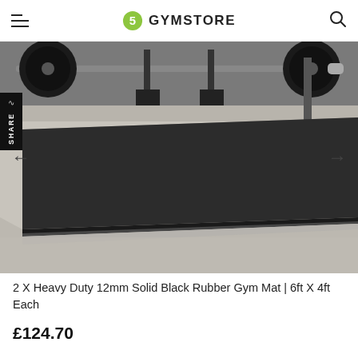GYMSTORE
[Figure (photo): A large black rubber gym mat laid flat on a concrete floor in a gym, with a barbell loaded with weight plates resting on top of it. The mat is thick and has a solid black surface. A share sidebar is visible on the left side of the image.]
2 X Heavy Duty 12mm Solid Black Rubber Gym Mat | 6ft X 4ft Each
£124.70